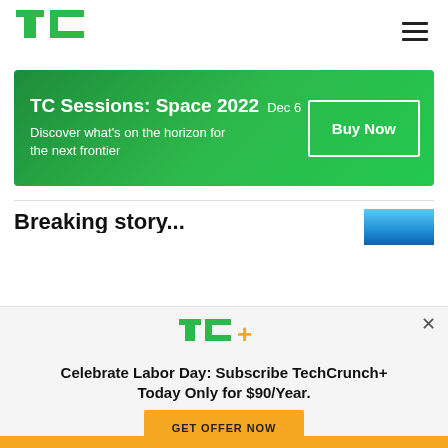TechCrunch navigation header with TC logo and hamburger menu
[Figure (infographic): Green gradient banner advertising TC Sessions: Space 2022 on Dec 6 with 'Discover what's on the horizon for the next frontier' text and a Buy Now button]
[Figure (screenshot): Partial article preview with bold title text and blue thumbnail image]
[Figure (infographic): TechCrunch+ subscription modal popup with TC+ logo, headline 'Celebrate Labor Day: Subscribe TechCrunch+ Today Only for $90/Year.' and GET OFFER NOW button in yellow/gold]